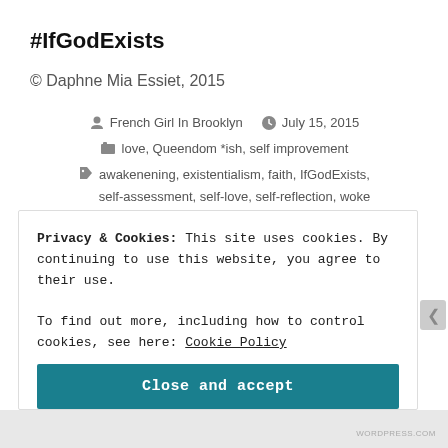#IfGodExists
© Daphne Mia Essiet, 2015
French Girl In Brooklyn   July 15, 2015
love, Queendom *ish, self improvement
awakenening, existentialism, faith, IfGodExists, self-assessment, self-love, self-reflection, woke
1 Comment
Privacy & Cookies: This site uses cookies. By continuing to use this website, you agree to their use.
To find out more, including how to control cookies, see here: Cookie Policy
Close and accept